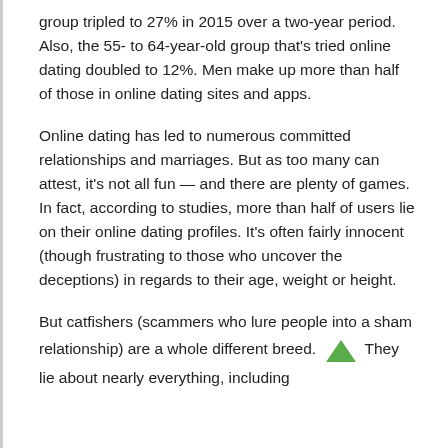group tripled to 27% in 2015 over a two-year period. Also, the 55- to 64-year-old group that's tried online dating doubled to 12%. Men make up more than half of those in online dating sites and apps.
Online dating has led to numerous committed relationships and marriages. But as too many can attest, it's not all fun — and there are plenty of games. In fact, according to studies, more than half of users lie on their online dating profiles. It's often fairly innocent (though frustrating to those who uncover the deceptions) in regards to their age, weight or height.
But catfishers (scammers who lure people into a sham relationship) are a whole different breed. They lie about nearly everything, including